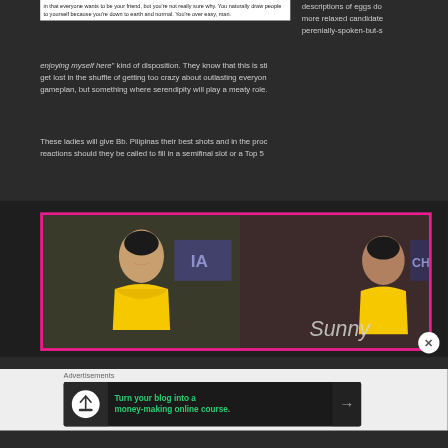in that everyone wants to be your friend, but you're not really sure why. You naturally draw people to yourself because you're down to earth and normal. You're over easy, man.
descriptions of eggs do more relaxed candidates perenially-spoken-but-s
enjoying myself here" kind of disposition. They know that this is sti get lost in the shuffle of getting too crazy about outlasting everyon gameplan, but something where serendipity will play a meaty role.
These ladies will give Bb. Pilipinas their best shots and in the proc reactions should they be called to fill in a semifinal slot or a Top 5
[Figure (photo): Photo of women in yellow swimwear at what appears to be Bb. Pilipinas pageant, with pink border frame. Text overlay reads 'Sunny'.]
Advertisements
[Figure (infographic): Advertisement banner: dark background with tree/upload icon, green text reading 'Turn your blog into a money-making online course.' with arrow.]